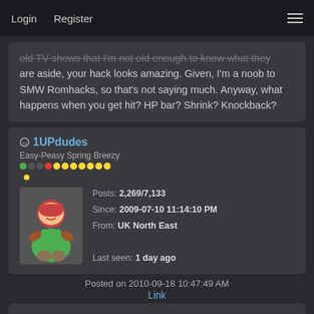Login   Register
old TV shows that I'm not old enough to know what they are aside, your hack looks amazing. Given, I'm a noob to SMW Romhacks, so that's not saying much. Anyway, what happens when you get hit? HP bar? Shrink? Knockback?
1UPdudes
Easy-Peasy Spring Breezy
Posts: 2,269/7,133
Since: 2009-07-10 11:14:10 PM
From: UK North East
Last seen: 1 day ago
Posted on 2010-09-18 10:47:49 AM
Link
To be honest 12 ExGFX slots is not that much, imo, I use around 4 per level sometimes. Anyway I do like what the little cutscene but maybe make the ground move or